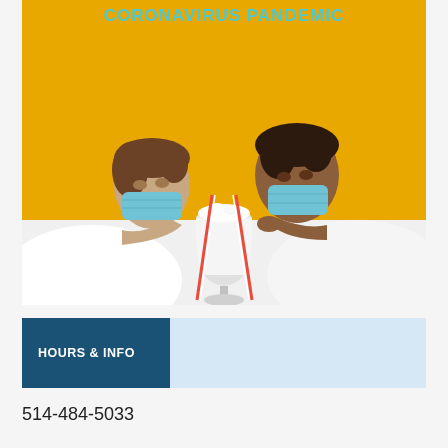[Figure (photo): Two people wearing blue surgical face masks lean toward each other across a table, both drinking from a shared milkshake glass using red-and-white striped straws. Background is bright yellow/amber. Text 'CORONAVIRUS PANDEMIC' appears at the top of the image in teal/cyan bold letters.]
HOURS & INFO
514-484-5033